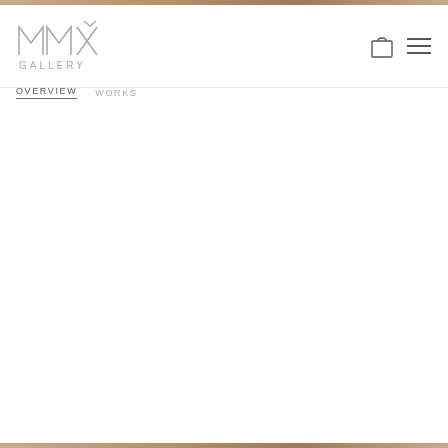[Figure (logo): MMX Gallery logo — geometric M M X letterform in light gray with 'GALLERY' text below]
[Figure (other): Shopping bag icon (outline) and hamburger menu icon in top right header]
OVERVIEW    WORKS